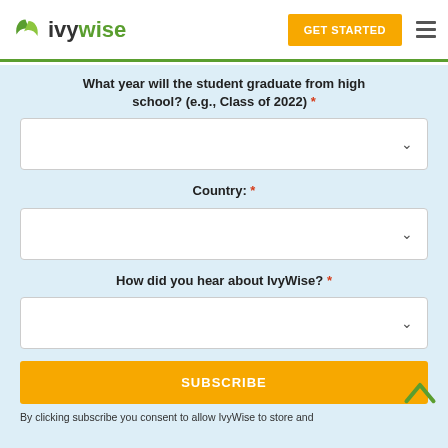IvyWise | GET STARTED
What year will the student graduate from high school? (e.g., Class of 2022) *
Country: *
How did you hear about IvyWise? *
SUBSCRIBE
By clicking subscribe you consent to allow IvyWise to store and